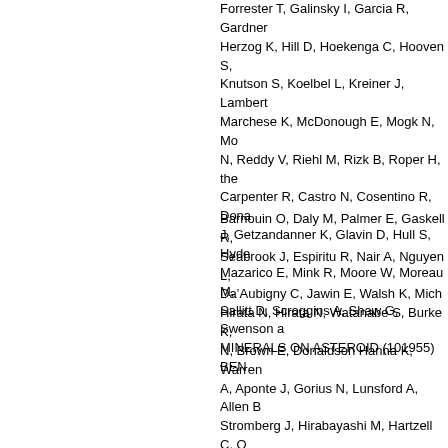Forrester T, Galinsky I, Garcia R, Gardner ... Herzog K, Hill D, Hoekenga C, Hooven S, Knutson S, Koelbel L, Kreiner J, Lambert ... Marchese K, McDonough E, Mogk N, Mo... N, Reddy V, Riehl M, Rizk B, Roper H, the... Carpenter R, Castro N, Cosentino R, Dona... J, Getzandanner K, Glavin D, Hull S, Hyde... Mazarico E, Mink R, Moore W, Moreau M,... Sallitt D, Scroggins A, Shaw G, Swenson ... MINERALS ON ASTEROID (101955) BEN...
Barnouin O, Daly M, Palmer E, Gaskell R,... Seabrook J, Espiritu R, Nair A, Nguyen L,... Dâ€™Aubigny C, Jawin E, Walsh K, Mich... Hirata N, Hirata N, Watanabe S, Burke K,... N, Brown E, Donaldson Hanna K, Warren... A, Aponte J, Gorius N, Lunsford A, Allen B... Stromberg J, Hirabayashi M, Hartzell C, O... Ghent R, Binzel R, Asad M, Johnson C, P... Breitenfeld L, Glotch T, Rogers A, Clark B,... Tachibana S, Yurimoto H, Brucato J, Pogg... Garcia J, Clemett S, Thomas-Keprta K, Va... Farnocchia D, Harbison A, Kennedy B, Kn... Swanson L, Takahashi Y, Velez D, Yetter k... Hoffman J, Leonard J, Lessac-Chenen E,... Stanbridge D, Wibben D, Williams B, Willi... Fulchignoni M, Hasselmann P, Merlin F, P... Church E, Coltrin M, Daly J, Deguzman A...